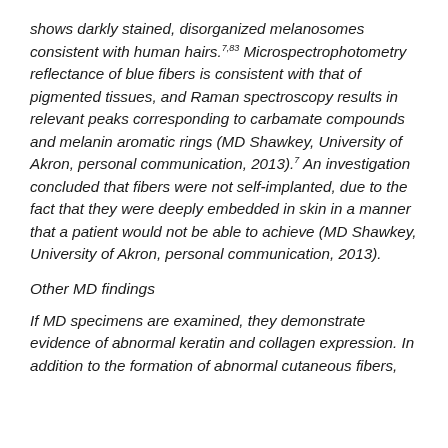shows darkly stained, disorganized melanosomes consistent with human hairs.7,83 Microspectrophotometry reflectance of blue fibers is consistent with that of pigmented tissues, and Raman spectroscopy results in relevant peaks corresponding to carbamate compounds and melanin aromatic rings (MD Shawkey, University of Akron, personal communication, 2013).7 An investigation concluded that fibers were not self-implanted, due to the fact that they were deeply embedded in skin in a manner that a patient would not be able to achieve (MD Shawkey, University of Akron, personal communication, 2013).
Other MD findings
If MD specimens are examined, they demonstrate evidence of abnormal keratin and collagen expression. In addition to the formation of abnormal cutaneous fibers,